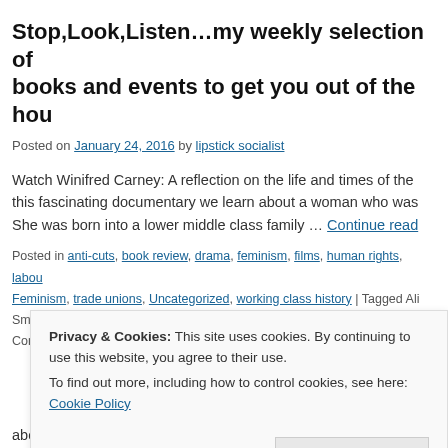Stop,Look,Listen…my weekly selection of books and events to get you out of the house
Posted on January 24, 2016 by lipstick socialist
Watch Winifred Carney: A reflection on the life and times of the… this fascinating documentary we learn about a woman who was… She was born into a lower middle class family … Continue reading
Posted in anti-cuts, book review, drama, feminism, films, human rights, labour… Feminism, trade unions, Uncategorized, working class history | Tagged Ali Sm… Connollyy, Public Library, Winifred Carney | 1 Comment
Privacy & Cookies: This site uses cookies. By continuing to use this website, you agree to their use. To find out more, including how to control cookies, see here: Cookie Policy
Close and accept
about a high school, its Head Teacher and seven students. Velab…